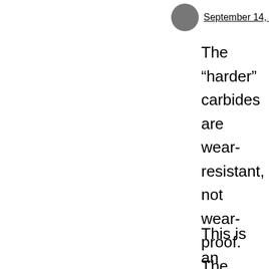September 14, 2016 at 1:40 pm
The “harder” carbides are wear-resistant, not wear-proof. The carbides will limit the abrasion rate (how long it takes to sharpen) but they will not sit proud of the matrix by more than a small fraction of a micron as they prevent abrasion of the matrix until they are abraded themselves.
This is an image of an S30V blade stropped with aluminum oxide metal polish – you can see the